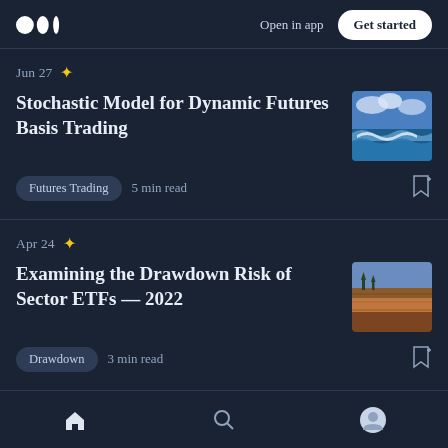Open in app | Get started
Jun 27
Stochastic Model for Dynamic Futures Basis Trading
[Figure (photo): Ocean waves crashing with blue sky and clouds]
Futures Trading  5 min read
Apr 24
Examining the Drawdown Risk of Sector ETFs — 2022
[Figure (photo): Aerial view of canyon landscape with orange rock formations]
Drawdown  3 min read
Home | Search | Profile